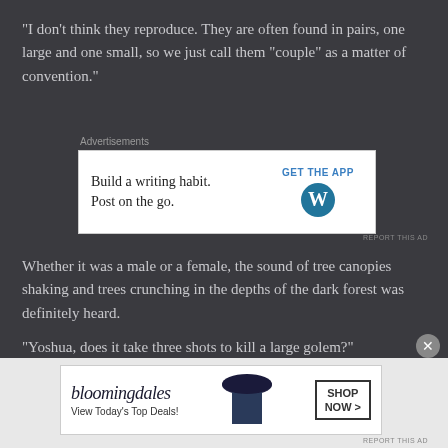“I don’t think they reproduce. They are often found in pairs, one large and one small, so we just call them “couple” as a matter of convention.”
[Figure (other): Advertisement box: 'Build a writing habit. Post on the go.' with WordPress logo and 'GET THE APP' call to action]
Whether it was a male or a female, the sound of tree canopies shaking and trees crunching in the depths of the dark forest was definitely heard.
“Yoshua, does it take three shots to kill a large golem?”
[Figure (other): Bloomingdale's advertisement: 'View Today’s Top Deals!' with SHOP NOW button and woman in hat photo]